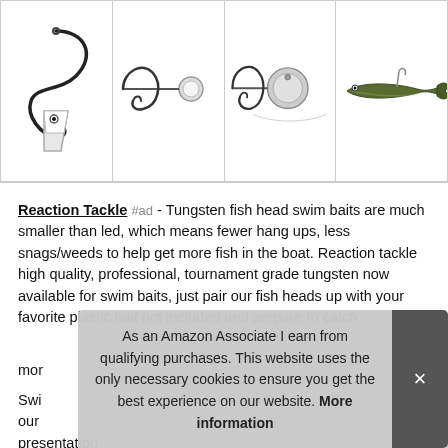[Figure (photo): Four product images of fishing tackle: a white jig head with hook, a small hook with spinner blade, a round spinner bait head with hook, and a soft plastic swim bait lure]
Reaction Tackle #ad - Tungsten fish head swim baits are much smaller than led, which means fewer hang ups, less snags/weeds to help get more fish in the boat. Reaction tackle high quality, professional, tournament grade tungsten now available for swim baits, just pair our fish heads up with your favorite plastic bait not included and prepare to catch mor[e fish]
Swi[m baits just pair] our [fish heads up with] presentation.
As an Amazon Associate I earn from qualifying purchases. This website uses the only necessary cookies to ensure you get the best experience on our website. More information